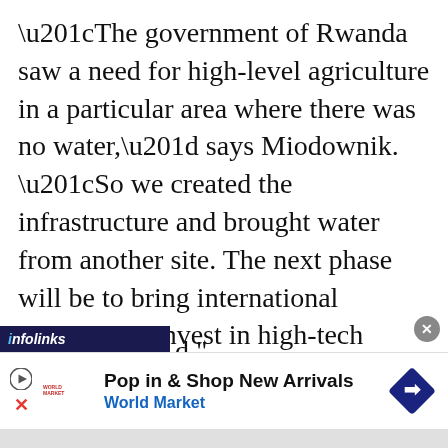“The government of Rwanda saw a need for high-level agriculture in a particular area where there was no water,” says Miodownik. “So we created the infrastructure and brought water from another site. The next phase will be to bring international investors to invest in high-tech agriculture in that region to serve the local or export markets. The residents also benefit because it improves their
[Figure (other): Infolinks advertisement banner overlay showing 'Pop in & Shop New Arrivals' for World Market with play icon, X close button, and blue diamond navigation icon]